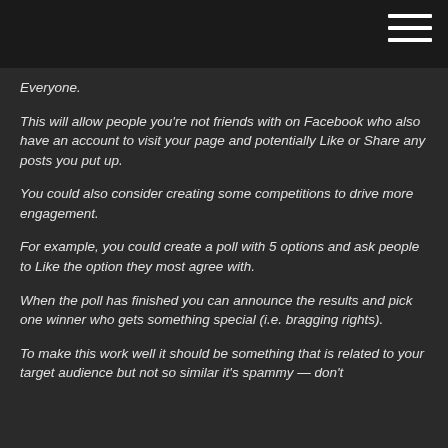Everyone.
This will allow people you're not friends with on Facebook who also have an account to visit your page and potentially Like or Share any posts you put up.
You could also consider creating some competitions to drive more engagement.
For example, you could create a poll with 5 options and ask people to Like the option they most agree with.
When the poll has finished you can announce the results and pick one winner who gets something special (i.e. bragging rights).
To make this work well it should be something that is related to your target audience but not so similar it's spammy — don't